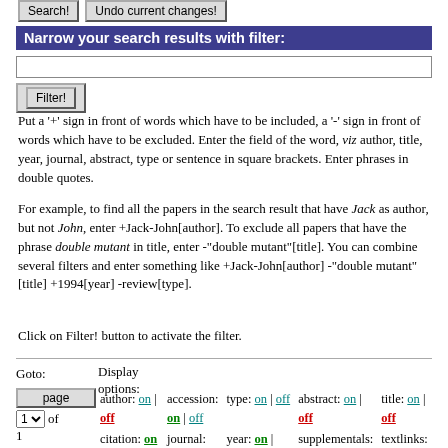Search! | Undo current changes!
Narrow your search results with filter:
Filter!
Put a '+' sign in front of words which have to be included, a '-' sign in front of words which have to be excluded. Enter the field of the word, viz author, title, year, journal, abstract, type or sentence in square brackets. Enter phrases in double quotes.
For example, to find all the papers in the search result that have Jack as author, but not John, enter +Jack-John[author]. To exclude all papers that have the phrase double mutant in title, enter -"double mutant"[title]. You can combine several filters and enter something like +Jack-John[author] -"double mutant"[title] +1994[year] -review[type].
Click on Filter! button to activate the filter.
Goto:
Display options:
| author | accession | type | abstract | title | citation | journal | year | supplementals | textlinks | searchterm-highlighting | matching sentences | entries/page |
| --- | --- | --- | --- | --- | --- | --- | --- | --- | --- | --- | --- | --- |